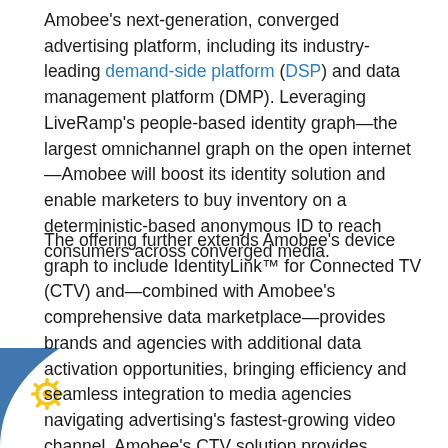Amobee's next-generation, converged advertising platform, including its industry-leading demand-side platform (DSP) and data management platform (DMP). Leveraging LiveRamp's people-based identity graph—the largest omnichannel graph on the open internet—Amobee will boost its identity solution and enable marketers to buy inventory on a deterministic-based anonymous ID to reach consumers across converged media.
The offering further extends Amobee's device graph to include IdentityLink™ for Connected TV (CTV) and—combined with Amobee's comprehensive data marketplace—provides brands and agencies with additional data activation opportunities, bringing efficiency and seamless integration to media agencies navigating advertising's fastest-growing video channel. Amobee's CTV solution provides marketers with sophisticated audience-based planning technology in order to efficiently meet key performance indicators, manage new business and